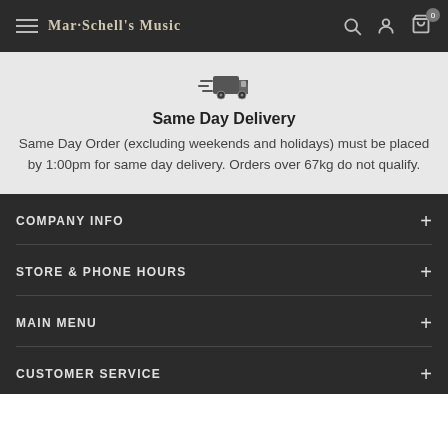Mar-Schell's Music
[Figure (illustration): Fast delivery truck icon with speed lines]
Same Day Delivery
Same Day Order (excluding weekends and holidays) must be placed by 1:00pm for same day delivery. Orders over 67kg do not qualify.
COMPANY INFO
STORE & PHONE HOURS
MAIN MENU
CUSTOMER SERVICE